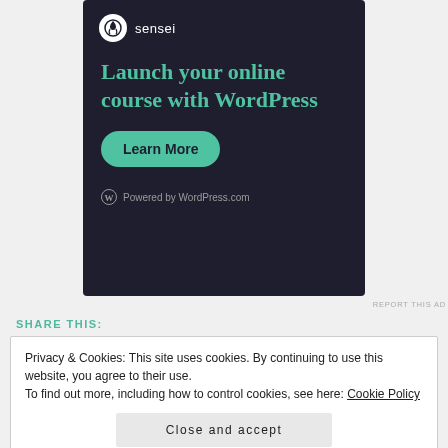[Figure (illustration): Sensei advertisement on dark background: logo with tree icon, headline 'Launch your online course with WordPress', teal 'Learn More' button, 'Powered by WordPress.com' footer]
REPORT THIS AD
SHARE THIS:
Privacy & Cookies: This site uses cookies. By continuing to use this website, you agree to their use.
To find out more, including how to control cookies, see here: Cookie Policy
Close and accept